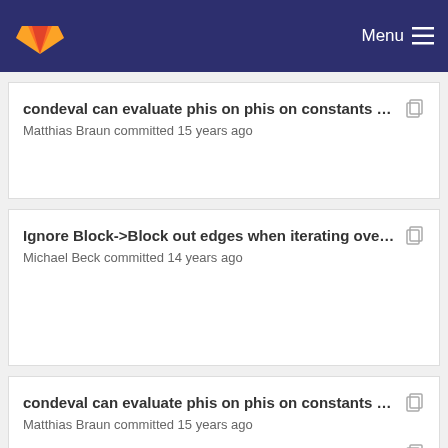Menu
condeval can evaluate phis on phis on constants ...
Matthias Braun committed 15 years ago
Ignore Block->Block out edges when iterating ove...
Michael Beck committed 14 years ago
condeval can evaluate phis on phis on constants ...
Matthias Braun committed 15 years ago
Ignore Block->Block out edges when iterating ove...
Imprint